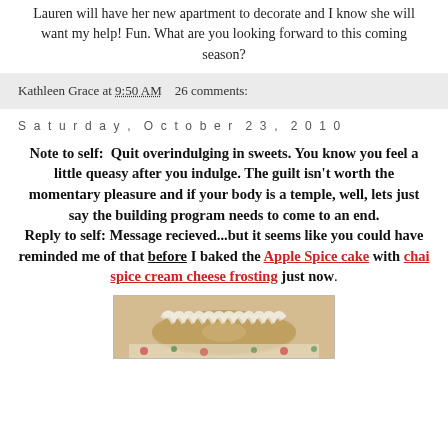Lauren will have her new apartment to decorate and I know she will want my help! Fun. What are you looking forward to this coming season?
Kathleen Grace at 9:50 AM    26 comments:
Saturday, October 23, 2010
Note to self:  Quit overindulging in sweets. You know you feel a little queasy after you indulge. The guilt isn't worth the momentary pleasure and if your body is a temple, well, lets just say the building program needs to come to an end.
Reply to self: Message recieved...but it seems like you could have reminded me of that before I baked the Apple Spice cake with chai spice cream cheese frosting just now.
[Figure (photo): Photo of an Apple Spice bundt cake with cream cheese frosting]